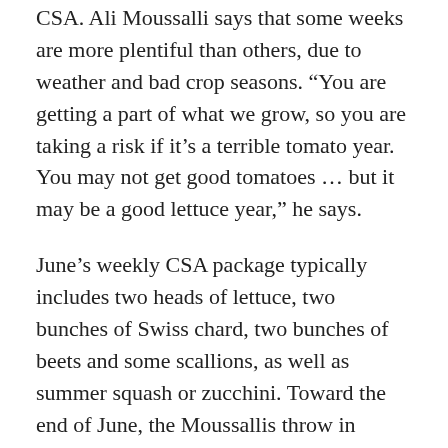CSA. Ali Moussalli says that some weeks are more plentiful than others, due to weather and bad crop seasons. “You are getting a part of what we grow, so you are taking a risk if it’s a terrible tomato year. You may not get good tomatoes … but it may be a good lettuce year,” he says.
June’s weekly CSA package typically includes two heads of lettuce, two bunches of Swiss chard, two bunches of beets and some scallions, as well as summer squash or zucchini. Toward the end of June, the Moussallis throw in potatoes, and in the middle of summer you will get four pounds of tomatoes, two pounds of onions, carrots or other root veggies, and a couple pounds of squash, cucumbers or red peppers.
Purchasing locally also keeps you aware of farmers’ seasons. “We are also notified Moussalli that …